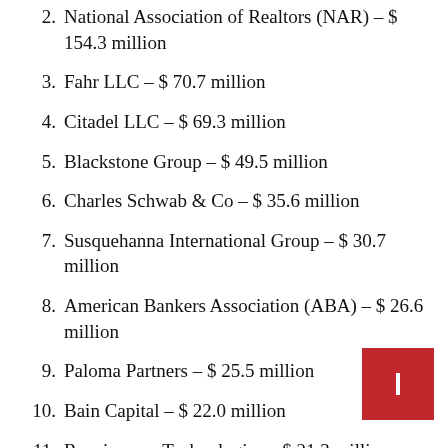2. National Association of Realtors (NAR) – $ 154.3 million
3. Fahr LLC – $ 70.7 million
4. Citadel LLC – $ 69.3 million
5. Blackstone Group – $ 49.5 million
6. Charles Schwab & Co – $ 35.6 million
7. Susquehanna International Group – $ 30.7 million
8. American Bankers Association (ABA) – $ 26.6 million
9. Paloma Partners – $ 25.5 million
10. Bain Capital – $ 22.0 million
11. Renaissance Technologies – $ 21.3 million
12. Stephens Group – $ 18.4 million (partial)